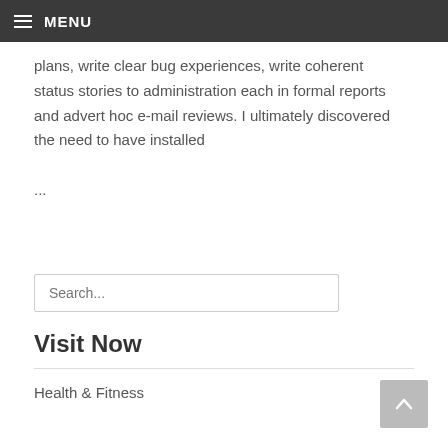MENU
plans, write clear bug experiences, write coherent status stories to administration each in formal reports and advert hoc e-mail reviews. I ultimately discovered the need to have installed ...
Search...
Visit Now
Health & Fitness